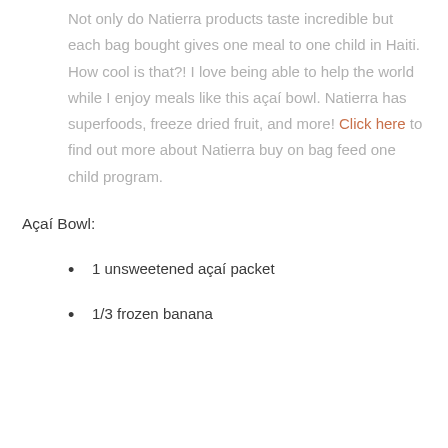Not only do Natierra products taste incredible but each bag bought gives one meal to one child in Haiti. How cool is that?! I love being able to help the world while I enjoy meals like this açaí bowl. Natierra has superfoods, freeze dried fruit, and more! Click here to find out more about Natierra buy on bag feed one child program.
Açaí Bowl:
1 unsweetened açaí packet
1/3 frozen banana